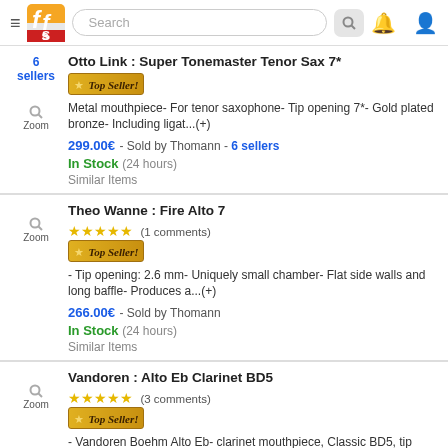Header navigation bar with logo, search, bell, and user icons
Otto Link : Super Tonemaster Tenor Sax 7*
Top Seller! Metal mouthpiece- For tenor saxophone- Tip opening 7*- Gold plated bronze- Including ligat...(+)
299.00€ - Sold by Thomann - 6 sellers
In Stock (24 hours)
Similar Items
Theo Wanne : Fire Alto 7
★★★★★ (1 comments)
Top Seller!
- Tip opening: 2.6 mm- Uniquely small chamber- Flat side walls and long baffle- Produces a...(+)
266.00€ - Sold by Thomann
In Stock (24 hours)
Similar Items
Vandoren : Alto Eb Clarinet BD5
★★★★★ (3 comments)
Top Seller!
- Vandoren Boehm Alto Eb- clarinet mouthpiece, Classic BD5, tip opening 140 (1/100 mm), lo...(+)
158.00€ - Sold by Thomann
In Stock (24 hours)